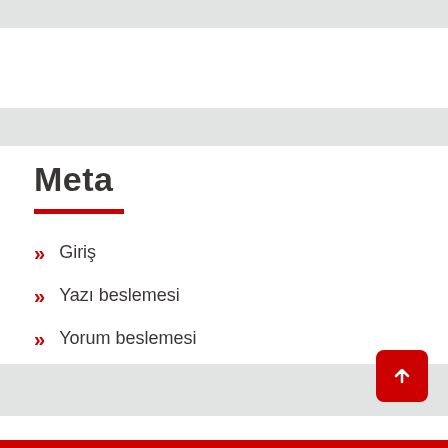Meta
Giriş
Yazı beslemesi
Yorum beslemesi
WordPress.org